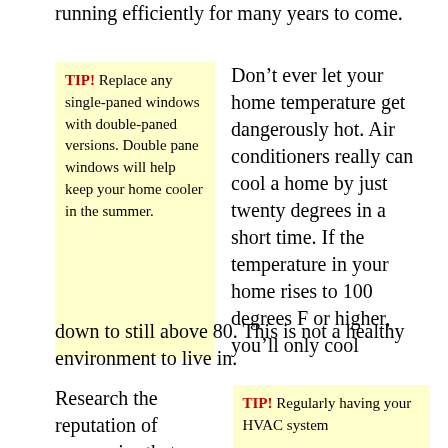running efficiently for many years to come.
TIP! Replace any single-paned windows with double-paned versions. Double pane windows will help keep your home cooler in the summer.
Don’t ever let your home temperature get dangerously hot. Air conditioners really can cool a home by just twenty degrees in a short time. If the temperature in your home rises to 100 degrees F or higher, you’ll only cool down to still above 80. This is not a healthy environment to live in.
Research the reputation of companies that you consider
TIP! Regularly having your HVAC system